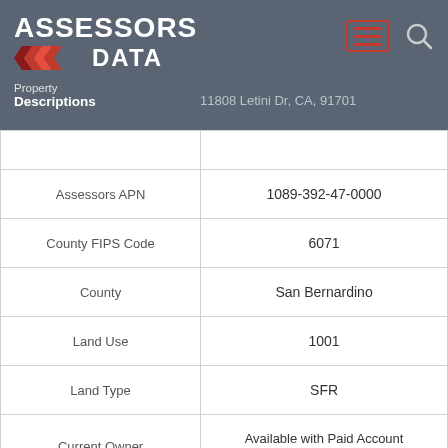ASSESSORS DATA — Property Descriptions — 11808 Letini Dr, CA, 91701
| Property Descriptions | 11808 Letini Dr, CA, 91701 |
| --- | --- |
|  |  |
| Assessors APN | 1089-392-47-0000 |
| County FIPS Code | 6071 |
| County | San Bernardino |
| Land Use | 1001 |
| Land Type | SFR |
| Current Owner | Available with Paid Account
AssessorsData.com |